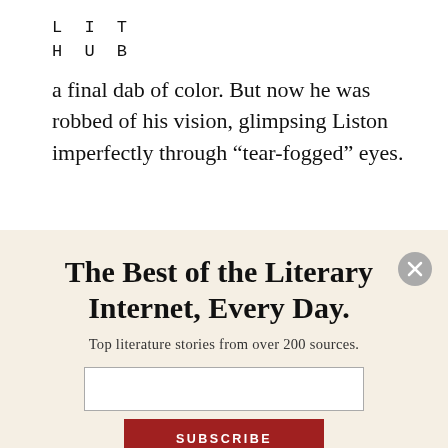LIT HUB
a final dab of color. But now he was robbed of his vision, glimpsing Liston imperfectly through “rear-fogged” eyes.
The Best of the Literary Internet, Every Day.
Top literature stories from over 200 sources.